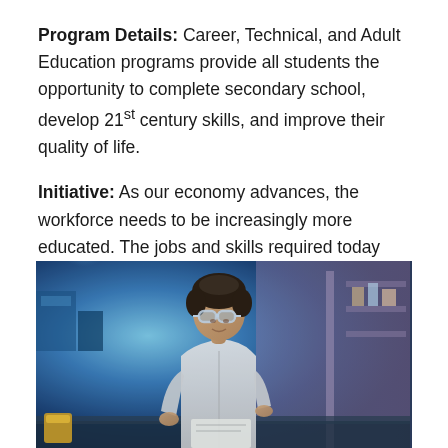Program Details: Career, Technical, and Adult Education programs provide all students the opportunity to complete secondary school, develop 21st century skills, and improve their quality of life.
Initiative: As our economy advances, the workforce needs to be increasingly more educated. The jobs and skills required today are far more complex than those in the past. In order to maintain a strong economy, both future graduates and current workers must be prepared for what lies ahead.
[Figure (photo): A young student wearing safety goggles and a white lab coat, working in what appears to be a technical or science lab. The background shows blue lighting and lab equipment.]